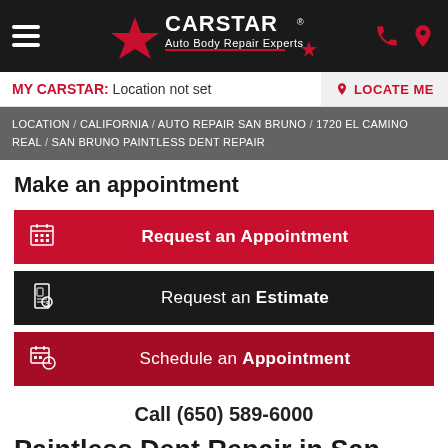CARSTAR Auto Body Repair Experts
MY CARSTAR: Location not set
LOCATE ME
LOCATION / CALIFORNIA / AUTO REPAIR SAN BRUNO / 1720 EL CAMINO REAL / SAN BRUNO PAINTLESS DENT REPAIR
Make an appointment
Request an Appointment
Request an Estimate
Schedule an Appointment
Call (650) 589-6000
Paintless Dent Repair in San